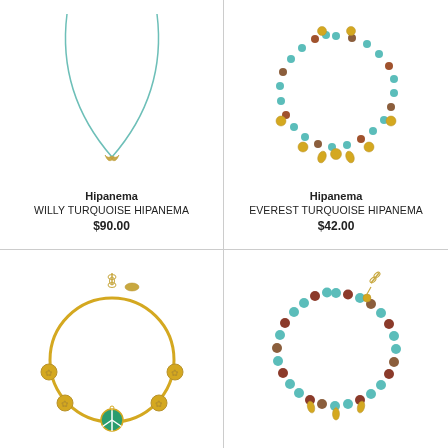[Figure (photo): Turquoise cord necklace with gold whale tail charm (Willy Turquoise Hipanema)]
Hipanema
WILLY TURQUOISE HIPANEMA
$90.00
[Figure (photo): Turquoise beaded bracelet/anklet with gold leaf and ball charms (Everest Turquoise Hipanema)]
Hipanema
EVEREST TURQUOISE HIPANEMA
$42.00
[Figure (photo): Gold bangle bracelet with peace sign charm and coin charms, extender chain]
[Figure (photo): Multicolor beaded bracelet/anklet with turquoise, rust and brown beads, gold charms, extender chain]